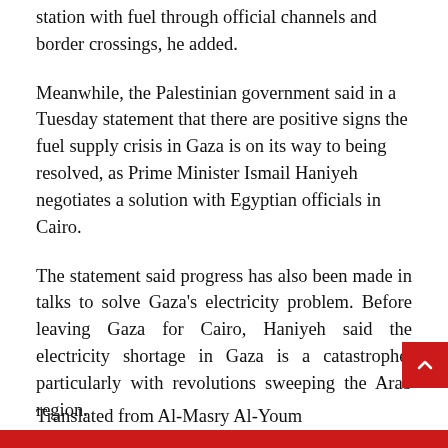station with fuel through official channels and border crossings, he added.
Meanwhile, the Palestinian government said in a Tuesday statement that there are positive signs the fuel supply crisis in Gaza is on its way to being resolved, as Prime Minister Ismail Haniyeh negotiates a solution with Egyptian officials in Cairo.
The statement said progress has also been made in talks to solve Gaza's electricity problem. Before leaving Gaza for Cairo, Haniyeh said the electricity shortage in Gaza is a catastrophe, particularly with revolutions sweeping the Arab region.
Translated from Al-Masry Al-Youm